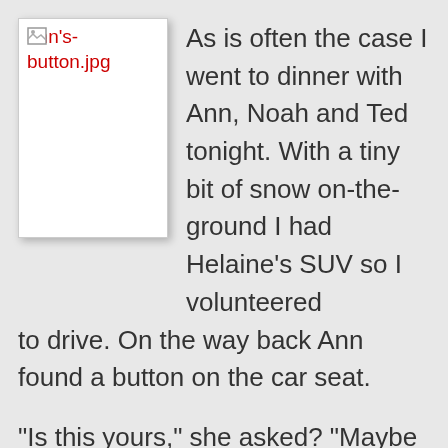[Figure (illustration): Broken image placeholder icon with filename label 'ann's-button.jpg' shown in red text below the icon, displayed within a white card with shadow]
As is often the case I went to dinner with Ann, Noah and Ted tonight. With a tiny bit of snow on-the-ground I had Helaine’s SUV so I volunteered to drive. On the way back Ann found a button on the car seat.
“Is this yours,” she asked? “Maybe it’s Helaine’s?”